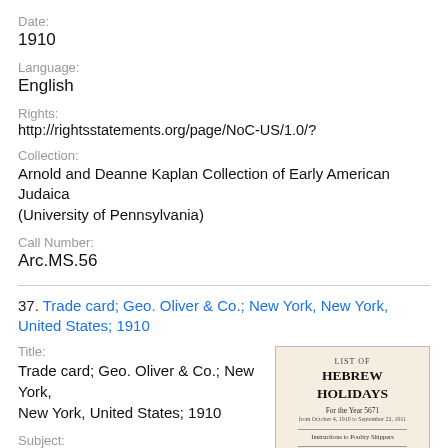Date:
1910
Language:
English
Rights:
http://rightsstatements.org/page/NoC-US/1.0/?
Collection:
Arnold and Deanne Kaplan Collection of Early American Judaica (University of Pennsylvania)
Call Number:
Arc.MS.56
37. Trade card; Geo. Oliver & Co.; New York, New York, United States; 1910
Title:
Trade card; Geo. Oliver & Co.; New York, New York, United States; 1910
Subject:
Animal industry; Jewish merchants; Trade cards (advertising)
[Figure (photo): Thumbnail image of a trade card titled 'LIST OF HEBREW HOLIDAYS For the Year 5671 from October 4, 1910 to September 22, 1911, Instructions to Poultry Shippers, Presented by GEO. OLIVER & CO.']